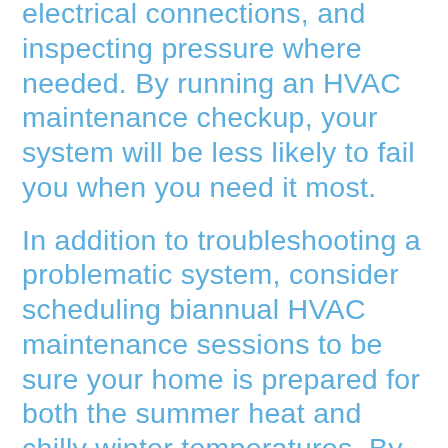electrical connections, and inspecting pressure where needed. By running an HVAC maintenance checkup, your system will be less likely to fail you when you need it most.
In addition to troubleshooting a problematic system, consider scheduling biannual HVAC maintenance sessions to be sure your home is prepared for both the summer heat and chilly winter temperatures. By taking good care of your system, you can save money by reducing high energy bills, keeping emergency repairs to a minimum, and extending the